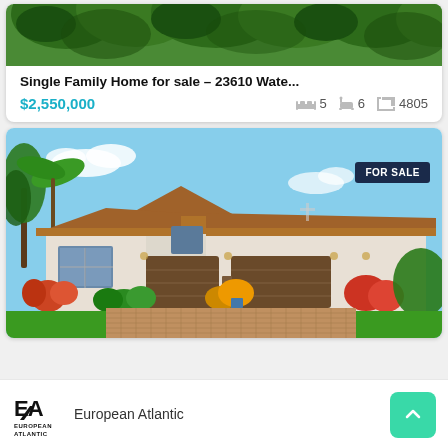[Figure (photo): Aerial/top view of green trees — top portion of listing card image cropped]
Single Family Home for sale – 23610 Wate...
$2,550,000   5   6   4805
[Figure (photo): Photo of a large Florida-style single family home with tile roof, 3-car garage, palm trees, tropical landscaping, blue sky, FOR SALE badge in top-right corner]
European Atlantic